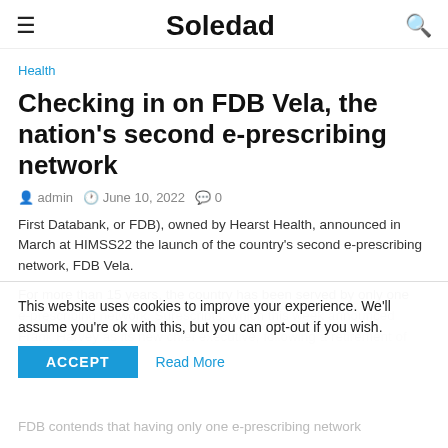≡  Soledad  🔍
Health
Checking in on FDB Vela, the nation's second e-prescribing network
admin   June 10, 2022   0
First Databank, or FDB), owned by Hearst Health, announced in March at HIMSS22 the launch of the country's second e-prescribing network, FDB Vela.
For more than 15 years, the country has been served by only one e-prescribing network, Surescripts, which this week announced Frank Harvey as its new chief executive, following a retirement of CEO Tom Skelton.
This website uses cookies to improve your experience. We'll assume you're ok with this, but you can opt-out if you wish.
ACCEPT   Read More
FDB contends that having only one e-prescribing network